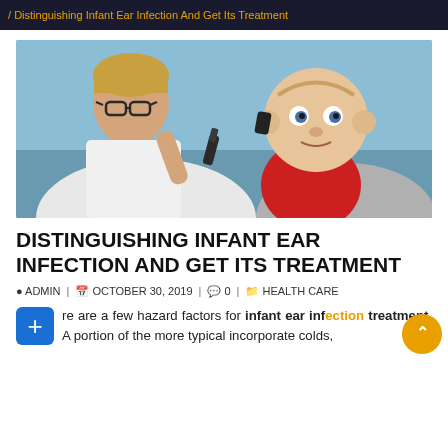/ Distinguishing Infant Ear Infection And Get Its Treatment
[Figure (photo): A female doctor wearing glasses and a white coat examining a baby's ear with an otoscope. The baby is wearing a red shirt and is being held by an adult, looking at the camera with wide eyes.]
DISTINGUISHING INFANT EAR INFECTION AND GET ITS TREATMENT
ADMIN | OCTOBER 30, 2019 | 0 | HEALTH CARE
re are a few hazard factors for infant ear infection treatment. A portion of the more typical incorporate colds,